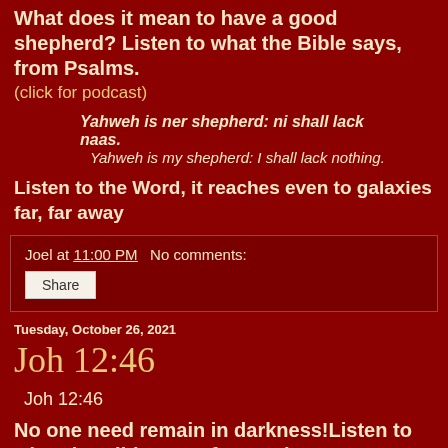What does it mean to have a good shepherd? Listen to what the Bible says, from Psalms.
(click for podcast)
Yahweh is ner shepherd: ni shall lack naas.
Yahweh is my shepherd: I shall lack nothing.
Listen to the Word, it reaches even to galaxies far, far away
Joel at 11:00 PM   No comments:
Share
Tuesday, October 26, 2021
Joh 12:46
Joh 12:46
No one need remain in darkness!Listen to what the Bible says, from John.